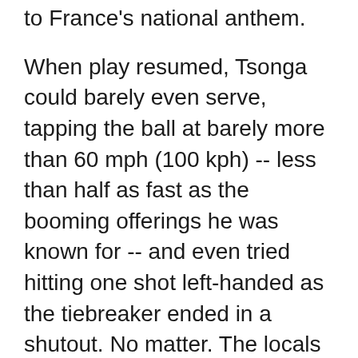to France's national anthem.
When play resumed, Tsonga could barely even serve, tapping the ball at barely more than 60 mph (100 kph) -- less than half as fast as the booming offerings he was known for -- and even tried hitting one shot left-handed as the tiebreaker ended in a shutout. No matter. The locals gave Tsonga a prolonged standing ovation, and he went up near the net, knelt and rested his forehead on the ground, creating a splotch of the rust-colored clay on his face.
Asked later what he'll miss the most as he leaves the sport, he replied: "The adrenaline, stepping on a big court like this one. Adrenaline you can feel when you have 15,000 people shouting your name."